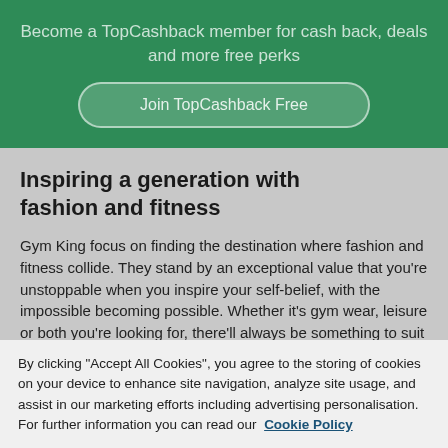Become a TopCashback member for cash back, deals and more free perks
Join TopCashback Free
Inspiring a generation with fashion and fitness
Gym King focus on finding the destination where fashion and fitness collide. They stand by an exceptional value that you’re unstoppable when you inspire your self-belief, with the impossible becoming possible. Whether it’s gym wear, leisure or both you’re looking for, there’ll always be something to suit your needs with our huge range of clothing on offer for...
By clicking “Accept All Cookies”, you agree to the storing of cookies on your device to enhance site navigation, analyze site usage, and assist in our marketing efforts including advertising personalisation. For further information you can read our Cookie Policy